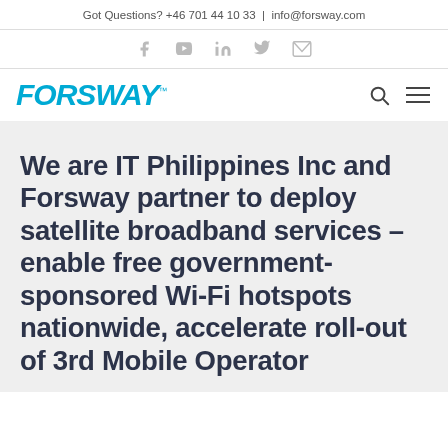Got Questions? +46 701 44 10 33 | info@forsway.com
[Figure (other): Social media icon bar with Facebook, YouTube, LinkedIn, Twitter, and Email icons]
[Figure (logo): FORSWAY logo in bold italic blue text with trademark symbol]
We are IT Philippines Inc and Forsway partner to deploy satellite broadband services – enable free government-sponsored Wi-Fi hotspots nationwide, accelerate roll-out of 3rd Mobile Operator